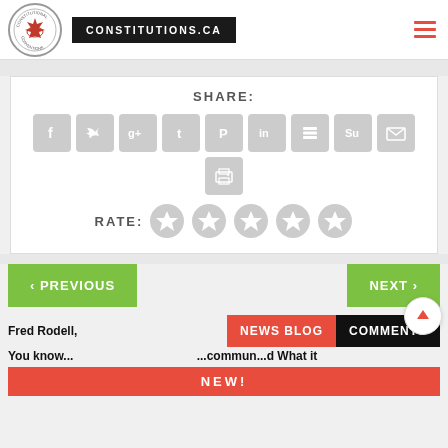CONSTITUTIONS.CA
SHARE:
[Figure (screenshot): Social media share icons: Facebook, Twitter, Google+, Tumblr, Pinterest, LinkedIn, Buffer, StumbleUpon, Email, Print]
RATE: (5 star rating icons)
< PREVIOUS
NEXT >
Fred Rodell, ... Do You Really Know...
NEWS BLOG
COMMENTS
NEW!